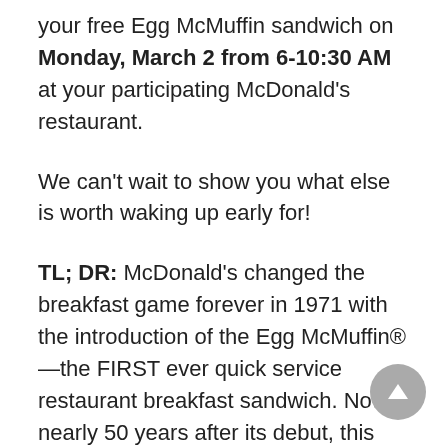your free Egg McMuffin sandwich on Monday, March 2 from 6-10:30 AM at your participating McDonald's restaurant.
We can't wait to show you what else is worth waking up early for!
TL; DR: McDonald's changed the breakfast game forever in 1971 with the introduction of the Egg McMuffin®—the FIRST ever quick service restaurant breakfast sandwich. Now, nearly 50 years after its debut, this fan favorite is getting the celebration it deserves: its very own national holiday. That's right, Monday, March 2nd is National Egg McMuffin Day. Head to the nearest